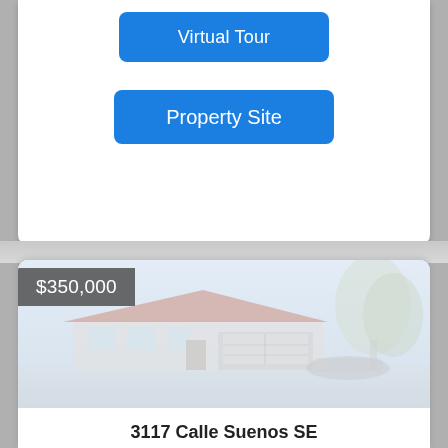[Figure (other): Blue button labeled 'Virtual Tour']
[Figure (other): Blue button labeled 'Property Site']
[Figure (photo): Exterior photo of a single-story ranch home with trees, faded/washed out appearance, with $350,000 price badge overlay]
3117 Calle Suenos SE
Here is a well-maintained Charter home with an airy, light, and bright feel. It has a welcoming larg